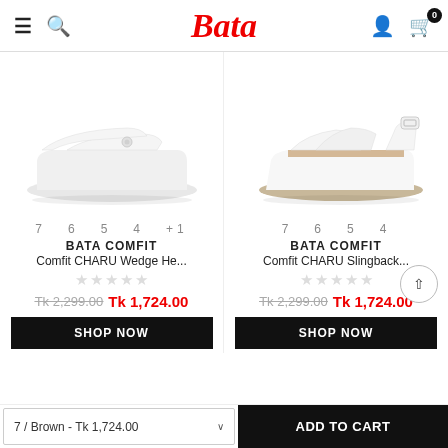Bata — navigation header with hamburger, search, logo, user, and cart (0 items)
[Figure (photo): White wedge heel slide sandal — BATA COMFIT Comfit CHARU Wedge He...]
[Figure (photo): White wedge slingback sandal — BATA COMFIT Comfit CHARU Slingback...]
7  6  5  4  +1
7  6  5  4
BATA COMFIT
BATA COMFIT
Comfit CHARU Wedge He...
Comfit CHARU Slingback...
★★★★★ (empty stars)
★★★★★ (empty stars)
Tk 2,299.00  Tk 1,724.00
Tk 2,299.00  Tk 1,724.00
SHOP NOW
SHOP NOW
7 / Brown - Tk 1,724.00
ADD TO CART